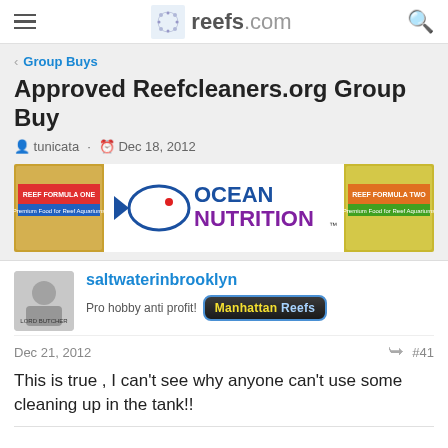reefs.com
Group Buys
Approved Reefcleaners.org Group Buy
tunicata · Dec 18, 2012
[Figure (photo): Ocean Nutrition banner ad showing Reef Formula One and Reef Formula Two products]
saltwaterinbrooklyn
Pro hobby anti profit! Manhattan Reefs
Dec 21, 2012  #41
This is true , I can't see why anyone can't use some cleaning up in the tank!!